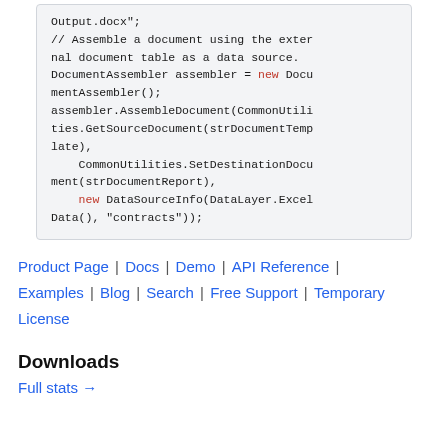Output.docx";
// Assemble a document using the external document table as a data source.
DocumentAssembler assembler = new DocumentAssembler();
assembler.AssembleDocument(CommonUtilities.GetSourceDocument(strDocumentTemplate),
    CommonUtilities.SetDestinationDocument(strDocumentReport),
    new DataSourceInfo(DataLayer.ExcelData(), "contracts"));
Product Page | Docs | Demo | API Reference | Examples | Blog | Search | Free Support | Temporary License
Downloads
Full stats →